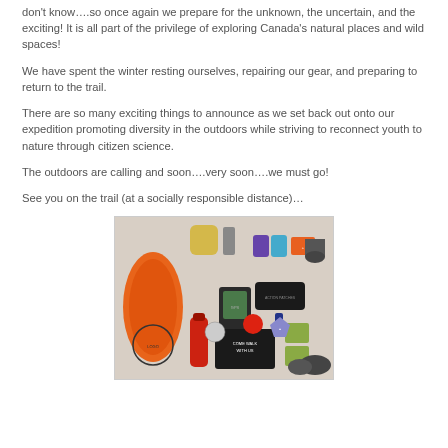don't know….so once again we prepare for the unknown, the uncertain, and the exciting! It is all part of the privilege of exploring Canada's natural places and wild spaces!
We have spent the winter resting ourselves, repairing our gear, and preparing to return to the trail.
There are so many exciting things to announce as we set back out onto our expedition promoting diversity in the outdoors while striving to reconnect youth to nature through citizen science.
The outdoors are calling and soon….very soon….we must go!
See you on the trail (at a socially responsible distance)…
[Figure (photo): Flat lay of outdoor/hiking gear including orange rope, tent, GPS device, water bottle, first aid kit, and other camping equipment on a white background, with a 'Come Walk With Us' branded pouch visible.]